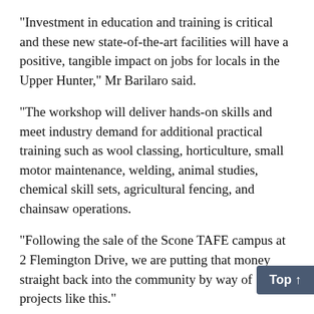“Investment in education and training is critical and these new state-of-the-art facilities will have a positive, tangible impact on jobs for locals in the Upper Hunter,” Mr Barilaro said.
“The workshop will deliver hands-on skills and meet industry demand for additional practical training such as wool classing, horticulture, small motor maintenance, welding, animal studies, chemical skill sets, agricultural fencing, and chainsaw operations.
“Following the sale of the Scone TAFE campus at 2 Flemington Drive, we are putting that money straight back into the community by way of projects like this.”
Minister for Skills and Tertiary Education Geoff Lee said the new multi-trades workshop and mobile training storage facility would allow TAFE NSW to adapt to local and industry demand.